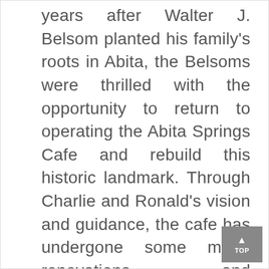years after Walter J. Belsom planted his family's roots in Abita, the Belsoms were thrilled with the opportunity to return to operating the Abita Springs Cafe and rebuild this historic landmark. Through Charlie and Ronald's vision and guidance, the cafe has undergone some major renovations and improvements both inside and out. All the while preserving the integrity and the history of this 130 year old building for future generations to appreciate.